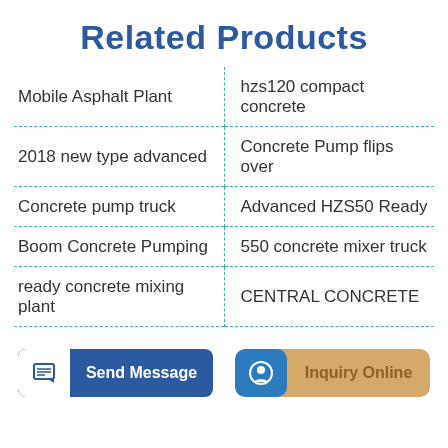Related Products
Mobile Asphalt Plant
hzs120 compact concrete
2018 new type advanced
Concrete Pump flips over
Concrete pump truck
Advanced HZS50 Ready
Boom Concrete Pumping
550 concrete mixer truck
ready concrete mixing plant
CENTRAL CONCRETE
Send Message
Inquiry Online